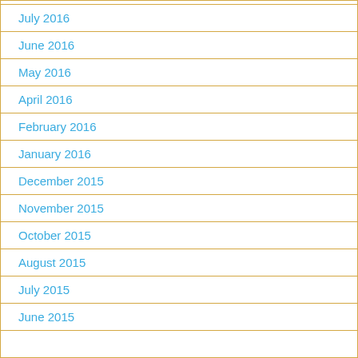July 2016
June 2016
May 2016
April 2016
February 2016
January 2016
December 2015
November 2015
October 2015
August 2015
July 2015
June 2015